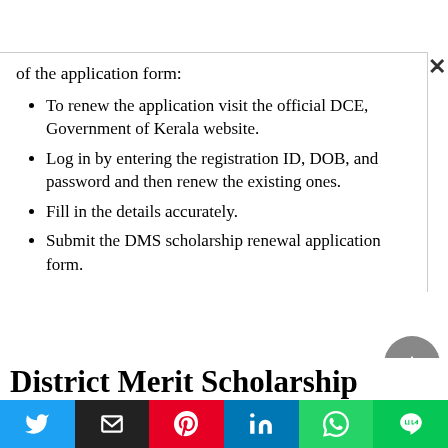of the application form:
To renew the application visit the official DCE, Government of Kerala website.
Log in by entering the registration ID, DOB, and password and then renew the existing ones.
Fill in the details accurately.
Submit the DMS scholarship renewal application form.
District Merit Scholarship